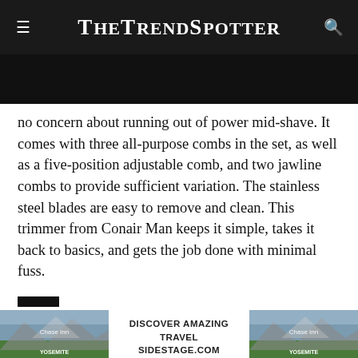TheTrendSpotter
[Figure (illustration): Dark banner/image band below the header]
no concern about running out of power mid-shave. It comes with three all-purpose combs in the set, as well as a five-position adjustable comb, and two jawline combs to provide sufficient variation. The stainless steel blades are easy to remove and clean. This trimmer from Conair Man keeps it simple, takes it back to basics, and gets the job done with minimal fuss.
[Figure (infographic): Advertisement banner: two mountain/Yosemite images flanking text 'DISCOVER AMAZING TRAVEL SIDESTAGE.COM']